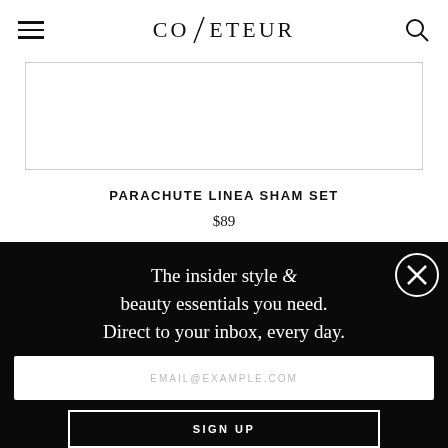COVETEUR
[Figure (photo): Product image area — white rectangular box with light gray border, showing partial product image (mostly white/blank).]
PARACHUTE LINEA SHAM SET
$89
The insider style & beauty essentials you need. Direct to your inbox, every day.
EMAIL@EXAMPLE.COM
SIGN UP